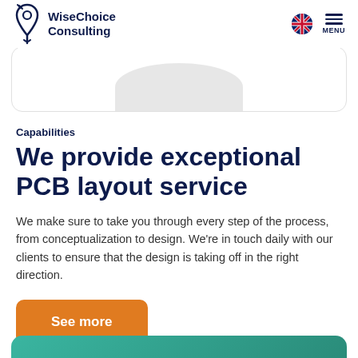WiseChoice Consulting
[Figure (screenshot): Partial card with grey circular image at top of content area]
Capabilities
We provide exceptional PCB layout service
We make sure to take you through every step of the process, from conceptualization to design. We're in touch daily with our clients to ensure that the design is taking off in the right direction.
See more
[Figure (illustration): Partial teal/green card visible at bottom of page]